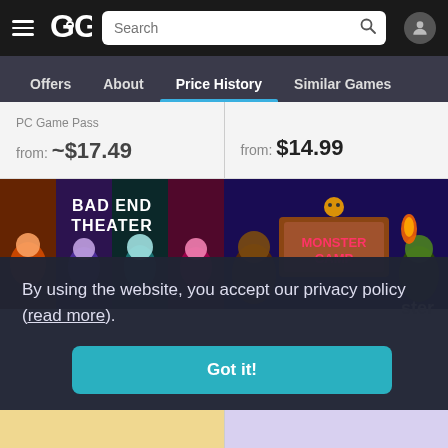GG — Search bar — User icon
Offers  About  Price History  Similar Games
PC Game Pass
from: ~$17.49
from: $14.99
[Figure (screenshot): Bad End Theater game cover art — cartoon characters panel style with title 'BAD END THEATER']
[Figure (screenshot): Monster Camp game cover art — cartoon characters around a sign reading 'MONSTER CAMP']
By using the website, you accept our privacy policy (read more).
Got it!